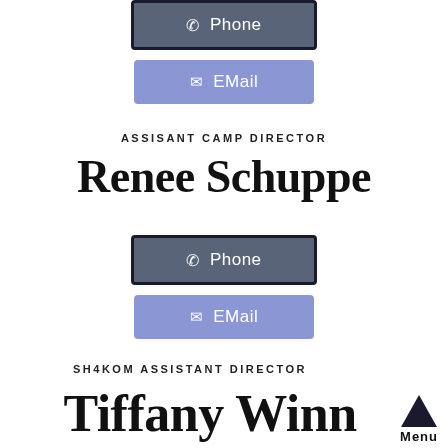[Figure (other): Phone button - dark grey/slate with phone icon and 'Phone' text, black border]
[Figure (other): EMail button - purple/periwinkle with envelope icon and 'EMail' text]
ASSISANT CAMP DIRECTOR
Renee Schuppe
[Figure (other): Phone button - dark grey/slate with phone icon and 'Phone' text, black border]
[Figure (other): EMail button - purple/periwinkle with envelope icon and 'EMail' text]
SH4KOM ASSISTANT DIRECTOR
Tiffany Winn
[Figure (other): Menu button - triangle arrow pointing up with 'Menu' label below]